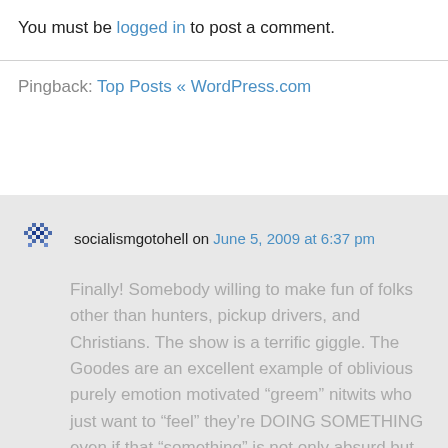You must be logged in to post a comment.
Pingback: Top Posts « WordPress.com
socialismgotohell on June 5, 2009 at 6:37 pm
Finally! Somebody willing to make fun of folks other than hunters, pickup drivers, and Christians. The show is a terrific giggle. The Goodes are an excellent example of oblivious purely emotion motivated “greem” nitwits who just want to “feel” they’re DOING SOMETHING even if that “something” is not only absurd but actually